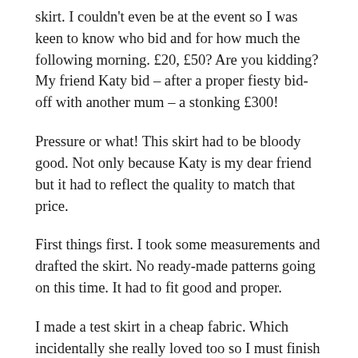skirt. I couldn't even be at the event so I was keen to know who bid and for how much the following morning. £20, £50? Are you kidding? My friend Katy bid – after a proper fiesty bid-off with another mum – a stonking £300!
Pressure or what! This skirt had to be bloody good. Not only because Katy is my dear friend but it had to reflect the quality to match that price.
First things first. I took some measurements and drafted the skirt. No ready-made patterns going on this time. It had to fit good and proper.
I made a test skirt in a cheap fabric. Which incidentally she really loved too so I must finish that off… at some point!
We went fabric shopping together – perks of the job! –